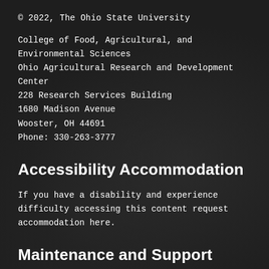© 2022, The Ohio State University
College of Food, Agricultural, and Environmental Sciences
Ohio Agricultural Research and Development Center
228 Research Services Building
1680 Madison Avenue
Wooster, OH 44691
Phone: 330-263-3777
Accessibility Accommodation
If you have a disability and experience difficulty accessing this content request accommodation here.
Maintenance and Support